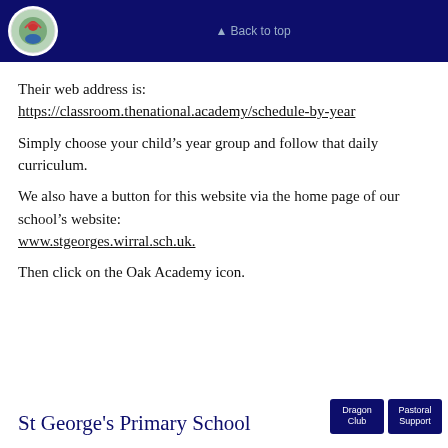Back to top
Their web address is:
https://classroom.thenational.academy/schedule-by-year
Simply choose your child’s year group and follow that daily curriculum.
We also have a button for this website via the home page of our school’s website:
www.stgeorges.wirral.sch.uk.
Then click on the Oak Academy icon.
St George's Primary School